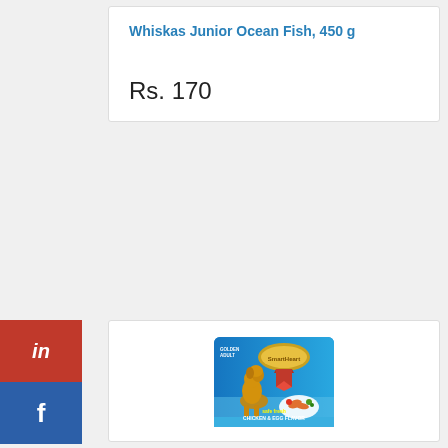Whiskas Junior Ocean Fish, 450 g
Rs. 170
[Figure (photo): SmartHeart dog food bag (blue) with a golden retriever and text 'Chicken & Egg Flavor', shown on a product listing card]
in
f